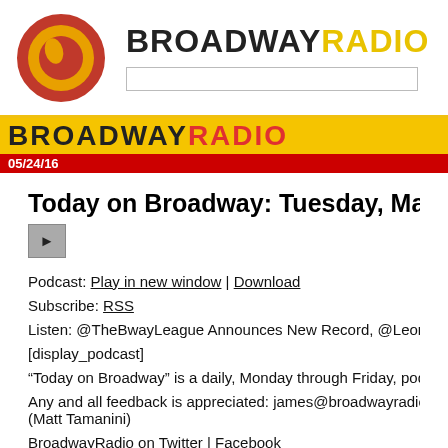BROADWAY RADIO
BROADWAY RADIO
05/24/16
Today on Broadway: Tuesday, May 24, 2016
Podcast: Play in new window | Download
Subscribe: RSS
Listen: @TheBwayLeague Announces New Record, @LeonaLewis for #Cats
[display_podcast]
“Today on Broadway” is a daily, Monday through Friday, podcast hitting the t
Any and all feedback is appreciated: james@broadwayradio.com (James Marin (Matt Tamanini)
BroadwayRadio on Twitter | Facebook